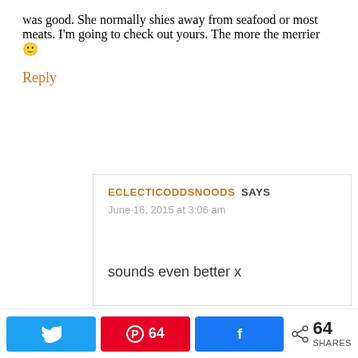was good. She normally shies away from seafood or most meats. I'm going to check out yours. The more the merrier 🙂
Reply
ECLECTICODDSNOODS SAYS
June 16, 2015 at 3:06 am
sounds even better x
[Figure (infographic): Social share bar with Twitter, Pinterest (64 saves), Facebook buttons and total 64 SHARES count]